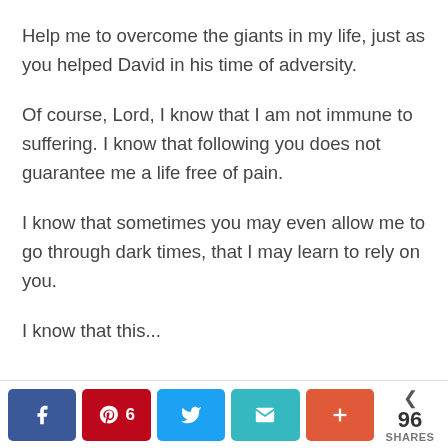Help me to overcome the giants in my life, just as you helped David in his time of adversity.
Of course, Lord, I know that I am not immune to suffering. I know that following you does not guarantee me a life free of pain.
I know that sometimes you may even allow me to go through dark times, that I may learn to rely on you.
I know that this...
Share buttons: Facebook, Pinterest 6, Twitter, Email, More | 96 SHARES